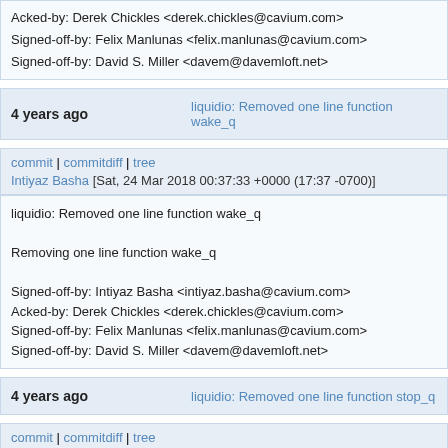Acked-by: Derek Chickles <derek.chickles@cavium.com>
Signed-off-by: Felix Manlunas <felix.manlunas@cavium.com>
Signed-off-by: David S. Miller <davem@davemloft.net>
4 years ago   liquidio: Removed one line function wake_q
commit | commitdiff | tree
Intiyaz Basha [Sat, 24 Mar 2018 00:37:33 +0000 (17:37 -0700)]
liquidio: Removed one line function wake_q

Removing one line function wake_q

Signed-off-by: Intiyaz Basha <intiyaz.basha@cavium.com>
Acked-by: Derek Chickles <derek.chickles@cavium.com>
Signed-off-by: Felix Manlunas <felix.manlunas@cavium.com>
Signed-off-by: David S. Miller <davem@davemloft.net>
4 years ago   liquidio: Removed one line function stop_q
commit | commitdiff | tree
Intiyaz Basha [Sat, 24 Mar 2018 00:37:30 +0000 (17:37 -0700)]
liquidio: Removed one line function stop_q